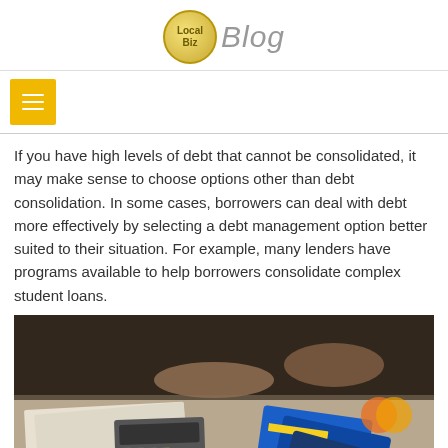Local Biz Blog
If you have high levels of debt that cannot be consolidated, it may make sense to choose options other than debt consolidation. In some cases, borrowers can deal with debt more effectively by selecting a debt management option better suited to their situation. For example, many lenders have programs available to help borrowers consolidate complex student loans.
[Figure (photo): A person's hands dealing with paperwork, a calculator, credit cards, and financial documents spread across a table, symbolizing debt management.]